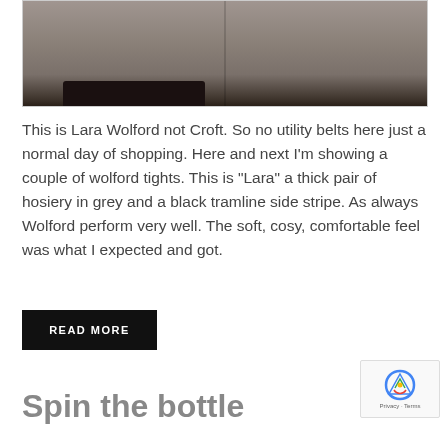[Figure (photo): Photo of legs wearing grey Wolford tights with black tramline side stripe, viewed from mid-thigh to foot level, with patterned shoe visible at lower left, against a tiled floor background.]
This is Lara Wolford not Croft. So no utility belts here just a normal day of shopping. Here and next I'm showing a couple of wolford tights. This is “Lara” a thick pair of hosiery in grey and a black tramline side stripe. As always Wolford perform very well. The soft, cosy, comfortable feel was what I expected and got.
READ MORE
Spin the bottle